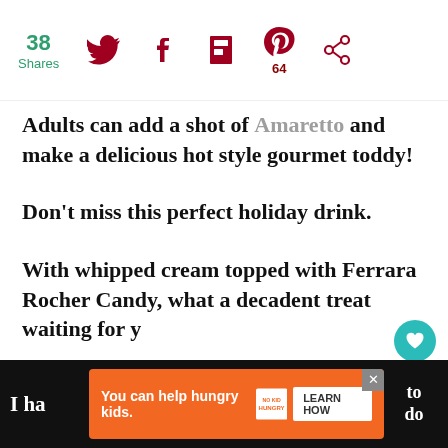38 Shares | Social share icons: Twitter, Facebook, Flipboard, Pinterest (64), other
Adults can add a shot of Amaretto and make a delicious hot style gourmet toddy!
Don't miss this perfect holiday drink.
With whipped cream topped with Ferrara Rocher Candy, what a decadent treat waiting for you
[Figure (infographic): What's Next callout: Chocolate Nutella... with a circular thumbnail image]
[Figure (infographic): Advertisement banner: You can help hungry kids. No Kid Hungry. Learn How. With orange background and close button.]
I ha...to come do you